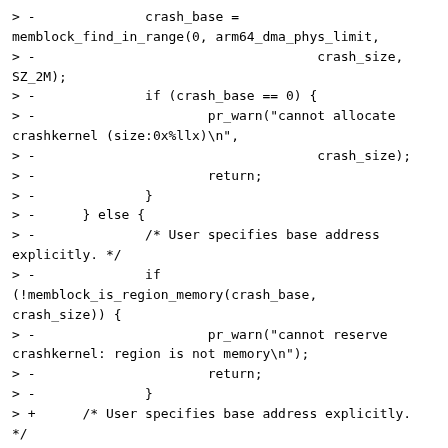> -              crash_base =
memblock_find_in_range(0, arm64_dma_phys_limit,
> -                                    crash_size,
SZ_2M);
> -              if (crash_base == 0) {
> -                      pr_warn("cannot allocate
crashkernel (size:0x%llx)\n",
> -                                    crash_size);
> -                      return;
> -              }
> -      } else {
> -              /* User specifies base address
explicitly. */
> -              if
(!memblock_is_region_memory(crash_base,
crash_size)) {
> -                      pr_warn("cannot reserve
crashkernel: region is not memory\n");
> -                      return;
> -              }
> +      /* User specifies base address explicitly.
*/
> +      if (crash_base)
> +              crash_max = crash_base +
crash_size;
>
> -              if
(memblock_is_region_reserved(crash_base,
crash_size)) {
> -                      pr_warn("cannot reserve
crashkernel: region overlaps reserved